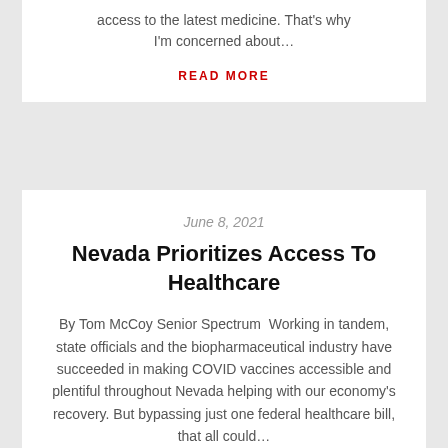access to the latest medicine. That's why I'm concerned about…
READ MORE
June 8, 2021
Nevada Prioritizes Access To Healthcare
By Tom McCoy Senior Spectrum  Working in tandem, state officials and the biopharmaceutical industry have succeeded in making COVID vaccines accessible and plentiful throughout Nevada helping with our economy's recovery. But bypassing just one federal healthcare bill, that all could…
READ MORE